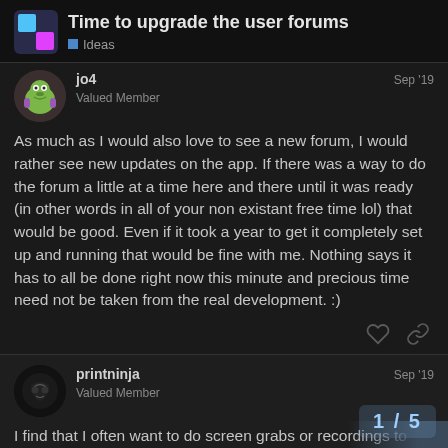Time to upgrade the user forums | Ideas
jo4
Valued Member
Sep '19
As much as I would also love to see a new forum, I would rather see new updates on the app. If there was a way to do the forum a little at a time here and there until it was ready (in other words in all of your non existant free time lol) that would be good. Even if it took a year to get it completely set up and running that would be fine with me. Nothing says it has to all be done right now this minute and precious time need not be taken from the real development. :)
printninja
Valued Member
Sep '19
I find that I often want to do screen grabs or recordings to help give people guidance on